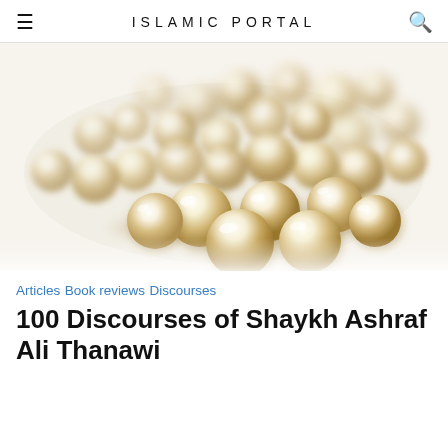ISLAMIC PORTAL
[Figure (photo): Cluster of lustrous cream/golden pearl beads on a white background, photographed with shallow depth of field. The pearls are slightly scattered and overlapping.]
Articles Book reviews Discourses
100 Discourses of Shaykh Ashraf Ali Thanawi